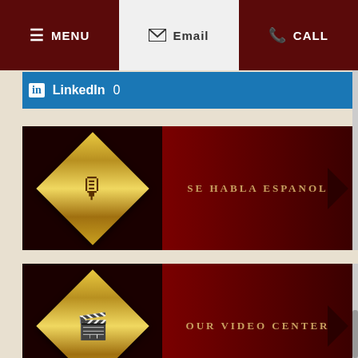MENU | Email | CALL
LinkedIn 0
SE HABLA ESPANOL
OUR VIDEO CENTER
OUR BLOG
TESTIMONIALS